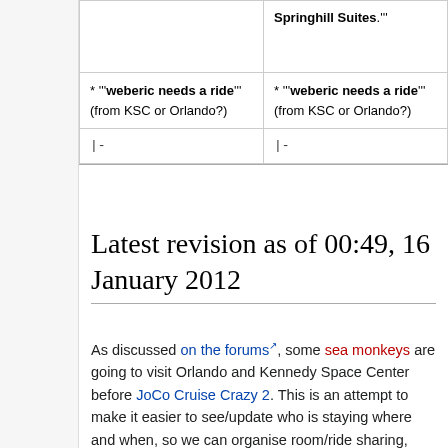| (yellow cell) | Springhill Suites.''' |
| * '''weberic needs a ride''' (from KSC or Orlando?) | * '''weberic needs a ride''' (from KSC or Orlando?) |
| |- | |- |
Latest revision as of 00:49, 16 January 2012
As discussed on the forums, some sea monkeys are going to visit Orlando and Kennedy Space Center before JoCo Cruise Crazy 2. This is an attempt to make it easier to see/update who is staying where and when, so we can organise room/ride sharing, Kennedy Space Center activities, and any meetups at other tourist attractions. Feel